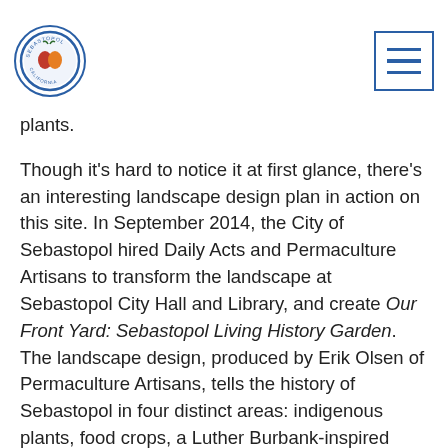Sebastopol city logo and navigation menu
plants.
Though it's hard to notice it at first glance, there's an interesting landscape design plan in action on this site. In September 2014, the City of Sebastopol hired Daily Acts and Permaculture Artisans to transform the landscape at Sebastopol City Hall and Library, and create Our Front Yard: Sebastopol Living History Garden. The landscape design, produced by Erik Olsen of Permaculture Artisans, tells the history of Sebastopol in four distinct areas: indigenous plants, food crops, a Luther Burbank-inspired section, and contemporary plantings which focus on water conservation.
Most people don't know about this feature of the landscaping, in part because the city, facing tight budgets, decided not to spring for the educational signage that had originally been planned for the site.